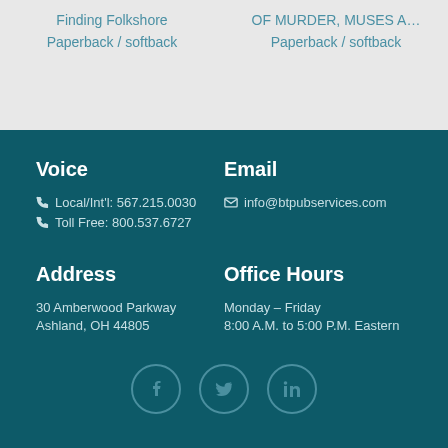Finding Folkshore
OF MURDER, MUSES A…
Paperback / softback
Paperback / softback
Voice
Local/Int'l: 567.215.0030
Toll Free: 800.537.6727
Email
info@btpubservices.com
Address
30 Amberwood Parkway
Ashland, OH 44805
Office Hours
Monday – Friday
8:00 A.M. to 5:00 P.M. Eastern
[Figure (infographic): Social media icons: Facebook, Twitter, LinkedIn in circular outlines]